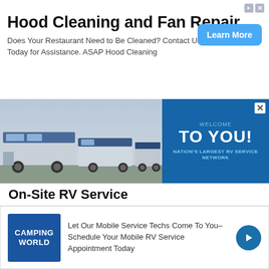[Figure (infographic): Advertisement for Hood Cleaning and Fan Repair service (ASAP Hood Cleaning) with a Learn More button]
Hood Cleaning and Fan Repair
Does Your Restaurant Need to Be Cleaned? Contact Us Today for Assistance. ASAP Hood Cleaning
[Figure (infographic): RV advertisement banner showing multiple RVs with text 'TO YOU! NATION'S LARGEST RV SERVICE NETWORK' on blue background]
On-Site RV Service
[Figure (infographic): Camping World advertisement with logo and text about mobile RV service]
Let Our Mobile Service Techs Come To You–Schedule Your Mobile RV Service Appointment Today
[Figure (photo): Gracious Retirement Living advertisement showing an elderly woman painting at an easel, smiling]